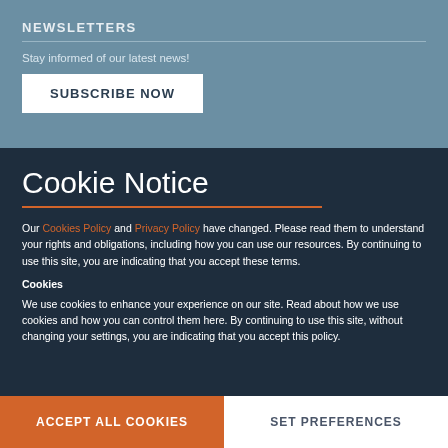NEWSLETTERS
Stay informed of our latest news!
SUBSCRIBE NOW
Cookie Notice
Our Cookies Policy and Privacy Policy have changed. Please read them to understand your rights and obligations, including how you can use our resources. By continuing to use this site, you are indicating that you accept these terms.
Cookies
We use cookies to enhance your experience on our site. Read about how we use cookies and how you can control them here. By continuing to use this site, without changing your settings, you are indicating that you accept this policy.
ACCEPT ALL COOKIES
SET PREFERENCES